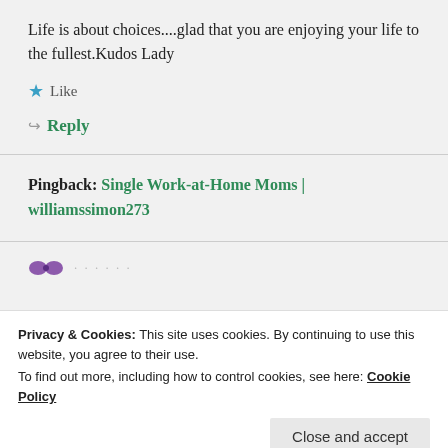Life is about choices....glad that you are enjoying your life to the fullest.Kudos Lady
★ Like
↪ Reply
Pingback: Single Work-at-Home Moms | williamssimon273
Privacy & Cookies: This site uses cookies. By continuing to use this website, you agree to their use.
To find out more, including how to control cookies, see here: Cookie Policy
Close and accept
kid, I went back to work soon after my maternity